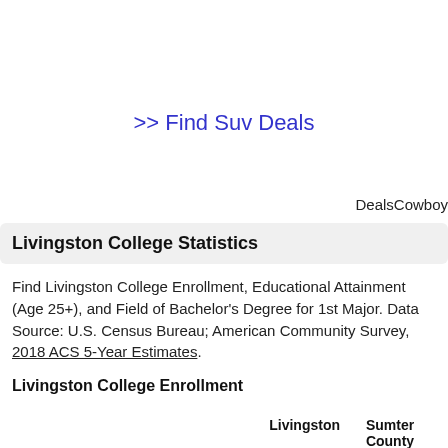>> Find Suv Deals
DealsCowboy
Livingston College Statistics
Find Livingston College Enrollment, Educational Attainment (Age 25+), and Field of Bachelor's Degree for 1st Major. Data Source: U.S. Census Bureau; American Community Survey, 2018 ACS 5-Year Estimates.
Livingston College Enrollment
Livingston   Sumter County